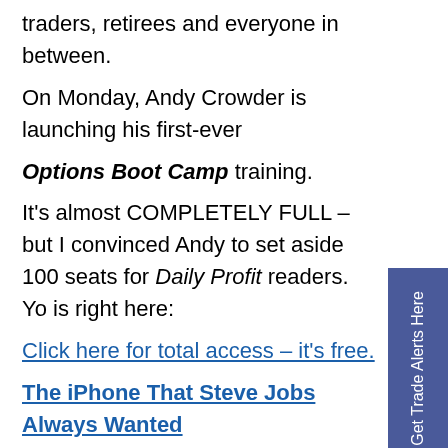traders, retirees and everyone in between.
On Monday, Andy Crowder is launching his first-ever Options Boot Camp training.
It's almost COMPLETELY FULL – but I convinced Andy to set aside 100 seats for Daily Profit readers. Yo is right here:
Click here for total access – it's free.
The iPhone That Steve Jobs Always Wanted
Apple unveiled the iPhone X, arguably its most im device since the original iPhone. There were mor announcements packed into this year's iPhone e than at any other event in the Tim Cook era.
Now Open: Collect $1,393 Instant Income
Andy Crowder's three-part intensive training could turn you into a PRO before Sept. 30. Plus, it could put $1,393